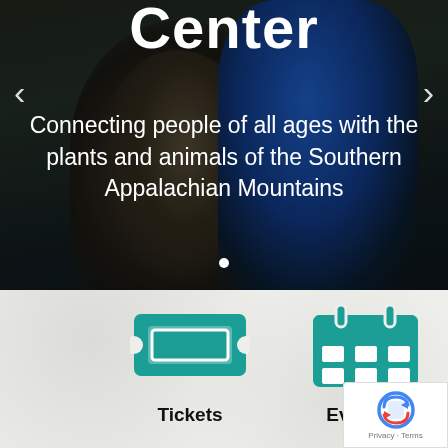[Figure (photo): Hero image showing a person in a blue staff shirt holding an owl, with text overlay about the nature center]
Center
Connecting people of all ages with the plants and animals of the Southern Appalachian Mountains
[Figure (illustration): Teal ticket icon]
Tickets
[Figure (illustration): Teal calendar icon]
Events